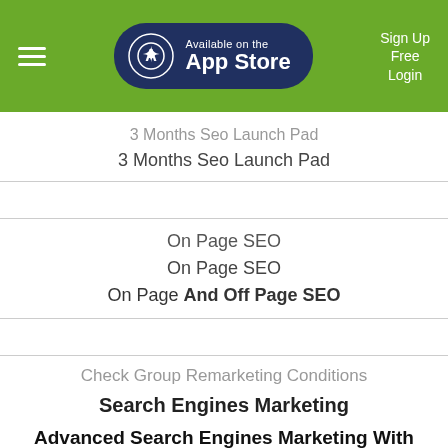Available on the App Store | Sign Up Free | Login
3 Months Seo Launch Pad
3 Months Seo Launch Pad
On Page SEO
On Page SEO
On Page And Off Page SEO
Check Group Remarketing Conditions
Search Engines Marketing
Advanced Search Engines Marketing With Click Budget Included